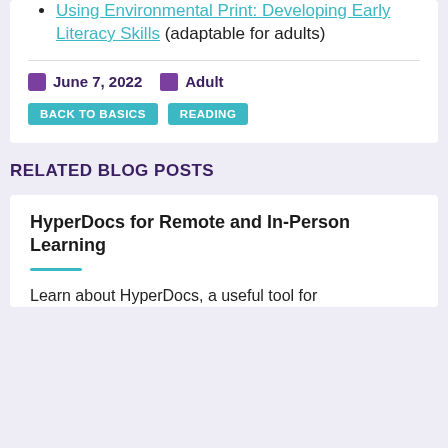Using Environmental Print: Developing Early Literacy Skills (adaptable for adults)
June 7, 2022  Adult
BACK TO BASICS  READING
RELATED BLOG POSTS
HyperDocs for Remote and In-Person Learning
Learn about HyperDocs, a useful tool for